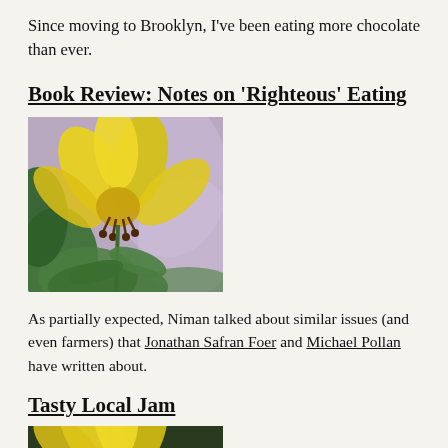Since moving to Brooklyn, I've been eating more chocolate than ever.
Book Review: Notes on 'Righteous' Eating
[Figure (photo): Close-up photograph of a yellow lily flower with dark stamens and green leaves, against a blurred background]
As partially expected, Niman talked about similar issues (and even farmers) that Jonathan Safran Foer and Michael Pollan have written about.
Tasty Local Jam
[Figure (photo): Partial view of a yellow lily flower, cropped at bottom of page]